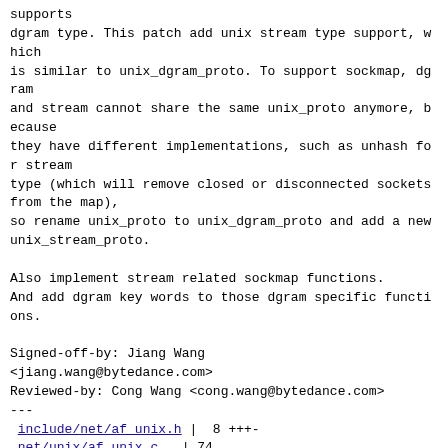supports
dgram type. This patch add unix stream type support, which
is similar to unix_dgram_proto. To support sockmap, dgram
and stream cannot share the same unix_proto anymore, because
they have different implementations, such as unhash for stream
type (which will remove closed or disconnected sockets from the map),
so rename unix_proto to unix_dgram_proto and add a new
unix_stream_proto.

Also implement stream related sockmap functions.
And add dgram key words to those dgram specific functions.

Signed-off-by: Jiang Wang
<jiang.wang@bytedance.com>
Reviewed-by: Cong Wang <cong.wang@bytedance.com>
---
include/net/af_unix.h |  8 +++- 
net/unix/af_unix.c    | 74 ++++++++++++++++++++++++++----
net/unix/unix_bpf.c   | 93 ++++++++++++++++++++++++++++++++----------
 3 files changed, 140 insertions(+), 35 deletions(-)